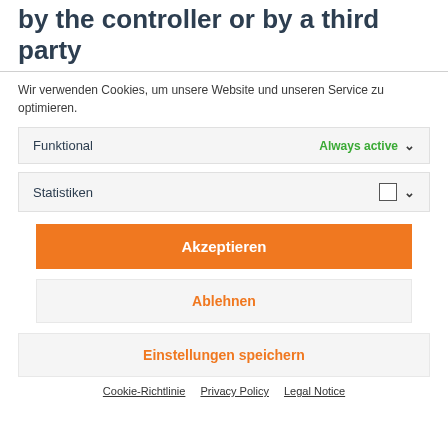by the controller or by a third party
Wir verwenden Cookies, um unsere Website und unseren Service zu optimieren.
Funktional · Always active
Statistiken
Akzeptieren
Ablehnen
Einstellungen speichern
Cookie-Richtlinie   Privacy Policy   Legal Notice